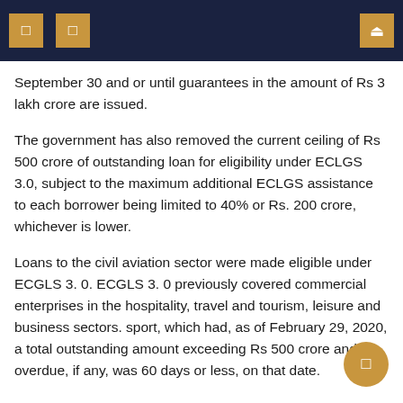navigation header with icons
September 30 and or until guarantees in the amount of Rs 3 lakh crore are issued.
The government has also removed the current ceiling of Rs 500 crore of outstanding loan for eligibility under ECLGS 3.0, subject to the maximum additional ECLGS assistance to each borrower being limited to 40% or Rs. 200 crore, whichever is lower.
Loans to the civil aviation sector were made eligible under ECGLS 3. 0. ECGLS 3. 0 previously covered commercial enterprises in the hospitality, travel and tourism, leisure and business sectors. sport, which had, as of February 29, 2020, a total outstanding amount exceeding Rs 500 crore and overdue, if any, was 60 days or less, on that date.
To fuel the still nascent growth impulses and ensure a